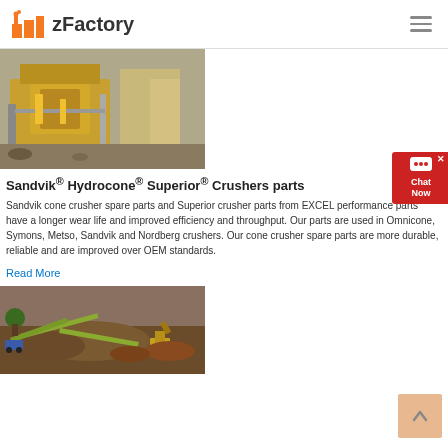zFactory
[Figure (photo): Industrial crusher/impact mill machine on a construction site, yellow machinery with metal framework and conveyor components]
Sandvik® Hydrocone® Superior® Crushers parts
Sandvik cone crusher spare parts and Superior crusher parts from EXCEL performance parts have a longer wear life and improved efficiency and throughput. Our parts are used in Omnicone, Symons, Metso, Sandvik and Nordberg crushers. Our cone crusher spare parts are more durable, reliable and are improved over OEM standards.
Read More
[Figure (photo): Aerial view of a mining/quarry operation site with heavy machinery, conveyor belts, excavators, and piles of material]